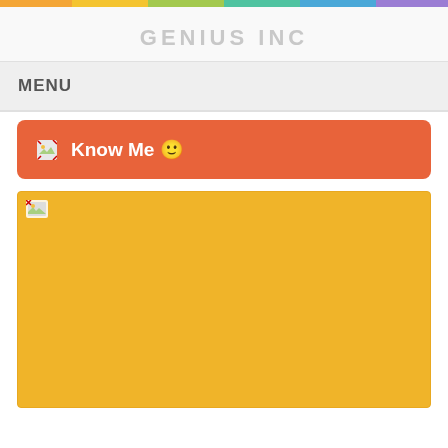GENIUS INC
MENU
Know Me 🙂
[Figure (photo): Yellow/golden colored image block with a broken image icon in the top-left corner]